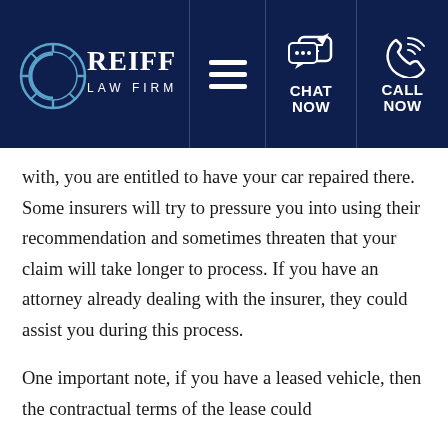[Figure (logo): Reiff Law Firm logo with compass/circle icon and firm name, plus navigation bar with hamburger menu, chat now, and call now buttons on dark navy background]
with, you are entitled to have your car repaired there. Some insurers will try to pressure you into using their recommendation and sometimes threaten that your claim will take longer to process. If you have an attorney already dealing with the insurer, they could assist you during this process.
One important note, if you have a leased vehicle, then the contractual terms of the lease could